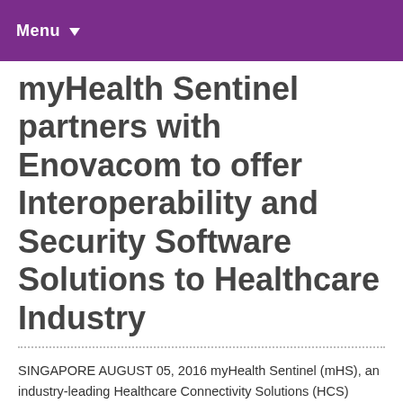Menu
myHealth Sentinel partners with Enovacom to offer Interoperability and Security Software Solutions to Healthcare Industry
SINGAPORE AUGUST 05, 2016 myHealth Sentinel (mHS), an industry-leading Healthcare Connectivity Solutions (HCS) company, is delighted to announce its partnership with Enovacom, a leading software vendor in interoperability and security solutions in healthcare environment, to introduce its suite of advanced software-based solutions into the SE Asia hospital IT marketplace